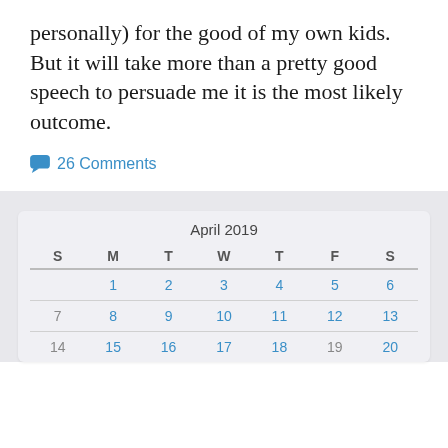personally) for the good of my own kids.  But it will take more than a pretty good speech to persuade me it is the most likely outcome.
26 Comments
| S | M | T | W | T | F | S |
| --- | --- | --- | --- | --- | --- | --- |
|  | 1 | 2 | 3 | 4 | 5 | 6 |
| 7 | 8 | 9 | 10 | 11 | 12 | 13 |
| 14 | 15 | 16 | 17 | 18 | 19 | 20 |